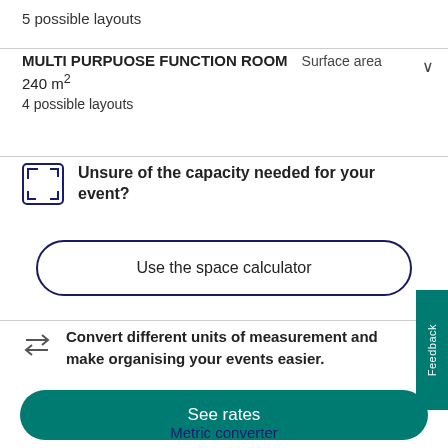5 possible layouts
MULTI PURPUOSE FUNCTION ROOM   Surface area
240 m²
4 possible layouts
Unsure of the capacity needed for your event?
Use the space calculator
Convert different units of measurement and make organising your events easier.
See rates
Metric converter